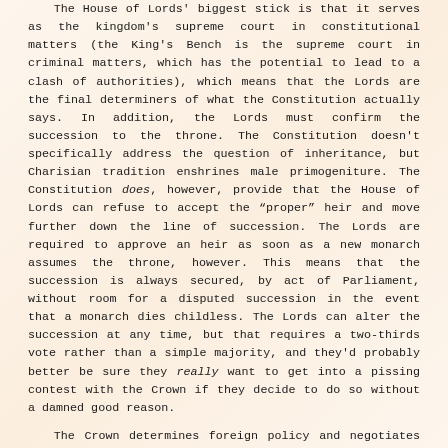The House of Lords' biggest stick is that it serves as the kingdom's supreme court in constitutional matters (the King's Bench is the supreme court in criminal matters, which has the potential to lead to a clash of authorities), which means that the Lords are the final determiners of what the Constitution actually says. In addition, the Lords must confirm the succession to the throne. The Constitution doesn't specifically address the question of inheritance, but Charisian tradition enshrines male primogeniture. The Constitution does, however, provide that the House of Lords can refuse to accept the "proper" heir and move further down the line of succession. The Lords are required to approve an heir as soon as a new monarch assumes the throne, however. This means that the succession is always secured, by act of Parliament, without room for a disputed succession in the event that a monarch dies childless. The Lords can alter the succession at any time, but that requires a two-thirds vote rather than a simple majority, and they'd probably better be sure they really want to get into a pissing contest with the Crown if they decide to do so without a damned good reason.
The Crown determines foreign policy and negotiates treaties and alliances, but any formal treaty must be approved by both houses of Parliament. (This means that Cayleb's proposal of marriage required parliamentary consent. As one may have noticed from reading the books, however, Cayleb didn't say a word to Parliament until he announced what was effectively a fait accompli. That reflected not simply the absolute necessity of keeping the negotiations coompletely secret until they were